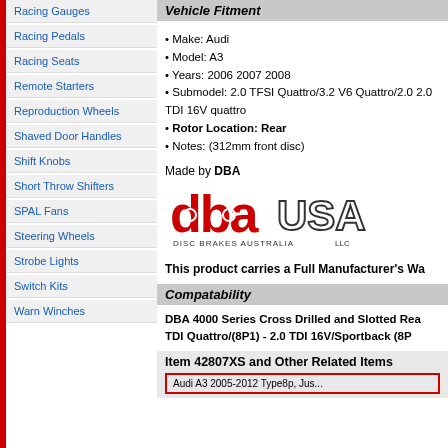Racing Gauges
Racing Pedals
Racing Seats
Remote Starters
Reproduction Wheels
Shaved Door Handles
Shift Knobs
Short Throw Shifters
SPAL Fans
Steering Wheels
Strobe Lights
Switch Kits
Warn Winches
Vehicle Fitment
• Make: Audi
• Model: A3
• Years: 2006 2007 2008
• Submodel: 2.0 TFSI Quattro/3.2 V6 Quattro/2.0 2.0 TDI 16V quattro
• Rotor Location: Rear
• Notes: (312mm front disc)
Made by DBA
[Figure (logo): DBA USA - Disc Brakes Australia LLC logo]
This product carries a Full Manufacturer's Wa...
Compatability
DBA 4000 Series Cross Drilled and Slotted Rea... TDI Quattro/(8P1) - 2.0 TDI 16V/Sportback (8P...
Item 42807XS and Other Related Items
Audi A3 2005-2012 Type8p, Jus...